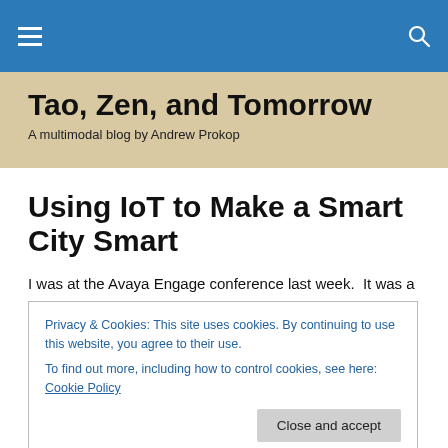☰  🔍
Tao, Zen, and Tomorrow
A multimodal blog by Andrew Prokop
Using IoT to Make a Smart City Smart
I was at the Avaya Engage conference last week.  It was a
Privacy & Cookies: This site uses cookies. By continuing to use this website, you agree to their use.
To find out more, including how to control cookies, see here: Cookie Policy
During one of the demonstrations of the IoT software I've